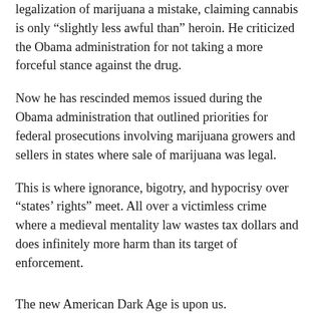legalization of marijuana a mistake, claiming cannabis is only “slightly less awful than” heroin. He criticized the Obama administration for not taking a more forceful stance against the drug.
Now he has rescinded memos issued during the Obama administration that outlined priorities for federal prosecutions involving marijuana growers and sellers in states where sale of marijuana was legal.
This is where ignorance, bigotry, and hypocrisy over “states’ rights” meet. All over a victimless crime where a medieval mentality law wastes tax dollars and does infinitely more harm than its target of enforcement.
The new American Dark Age is upon us.